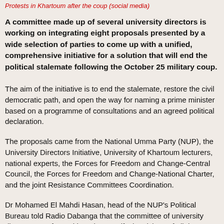Protests in Khartoum after the coup (social media)
A committee made up of several university directors is working on integrating eight proposals presented by a wide selection of parties to come up with a unified, comprehensive initiative for a solution that will end the political stalemate following the October 25 military coup.
The aim of the initiative is to end the stalemate, restore the civil democratic path, and open the way for naming a prime minister based on a programme of consultations and an agreed political declaration.
The proposals came from the National Umma Party (NUP), the University Directors Initiative, University of Khartoum lecturers, national experts, the Forces for Freedom and Change-Central Council, the Forces for Freedom and Change-National Charter, and the joint Resistance Committees Coordination.
Dr Mohamed El Mahdi Hasan, head of the NUP's Political Bureau told Radio Dabanga that the committee of university directors was formed in order to unify the visions of all the different parties in one